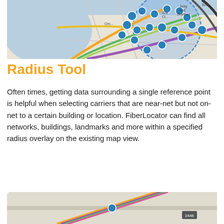[Figure (map): A map screenshot showing urban transit lines (orange, green, yellow, purple, black) overlaid on a city map with blue circular area overlay and location pin icons (blue circles with symbols). Shows streets and transit networks in a dense city area.]
Radius Tool
Often times, getting data surrounding a single reference point is helpful when selecting carriers that are near-net but not on-net to a certain building or location. FiberLocator can find all networks, buildings, landmarks and more within a specified radius overlay on the existing map view.
[Figure (map): Partial map screenshot showing colored transit fiber lines (orange, purple, green, pink) crossing at angles over a light beige city map background, with a blue location pin icon visible.]